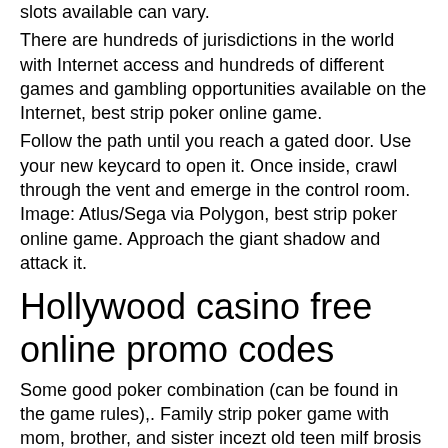slots available can vary.
There are hundreds of jurisdictions in the world with Internet access and hundreds of different games and gambling opportunities available on the Internet, best strip poker online game.
Follow the path until you reach a gated door. Use your new keycard to open it. Once inside, crawl through the vent and emerge in the control room. Image: Atlus/Sega via Polygon, best strip poker online game. Approach the giant shadow and attack it.
Hollywood casino free online promo codes
Some good poker combination (can be found in the game rules),. Family strip poker game with mom, brother, and sister incezt old teen milf brosis big boobs tits ass babe group good hard sex. Play all